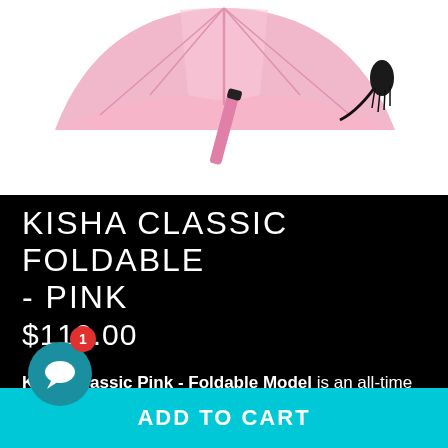[Figure (photo): Pink foldable umbrella on white background, viewed from below showing the canopy and handle with black tassel]
KISHA CLASSIC FOLDABLE - PINK
$110.00
Kisha Classic Pink - Foldable Model is an all-time classic for urban dwellers.